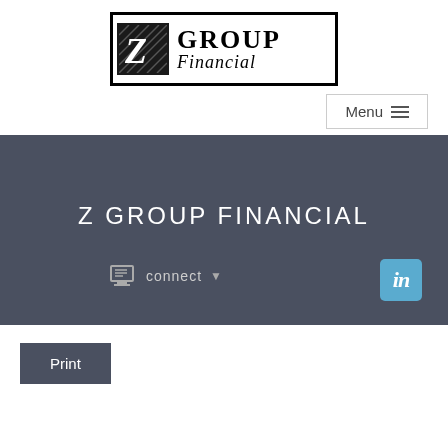[Figure (logo): Z Group Financial logo — black bordered rectangle with a stylized Z on dark background and 'GROUP Financial' text in serif font]
[Figure (screenshot): Menu button with hamburger icon in top right corner]
Z GROUP FINANCIAL
[Figure (screenshot): Connect button with monitor icon and dropdown arrow, plus LinkedIn 'in' icon on the right]
[Figure (screenshot): Print button in dark grey/slate color]